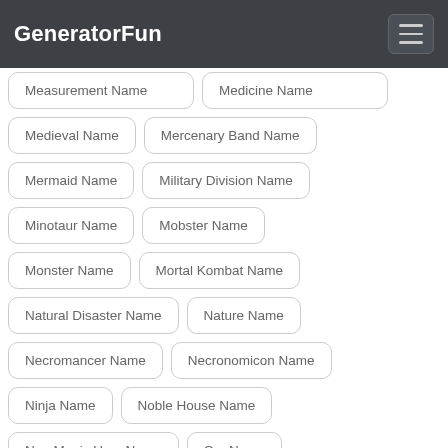GeneratorFun
Measurement Name
Medicine Name
Medieval Name
Mercenary Band Name
Mermaid Name
Military Division Name
Minotaur Name
Mobster Name
Monster Name
Mortal Kombat Name
Natural Disaster Name
Nature Name
Necromancer Name
Necronomicon Name
Ninja Name
Noble House Name
Non Magic User Name
Orc Name
Peasant name
Phoenix Name